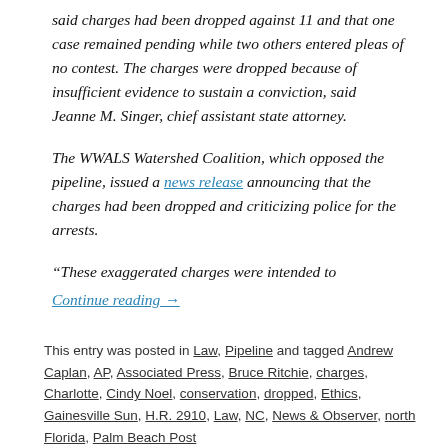said charges had been dropped against 11 and that one case remained pending while two others entered pleas of no contest. The charges were dropped because of insufficient evidence to sustain a conviction, said Jeanne M. Singer, chief assistant state attorney.
The WWALS Watershed Coalition, which opposed the pipeline, issued a news release announcing that the charges had been dropped and criticizing police for the arrests.
“These exaggerated charges were intended to
Continue reading →
This entry was posted in Law, Pipeline and tagged Andrew Caplan, AP, Associated Press, Bruce Ritchie, charges, Charlotte, Cindy Noel, conservation, dropped, Ethics, Gainesville Sun, H.R. 2910, Law, NC, News & Observer, north Florida, Palm Beach Post